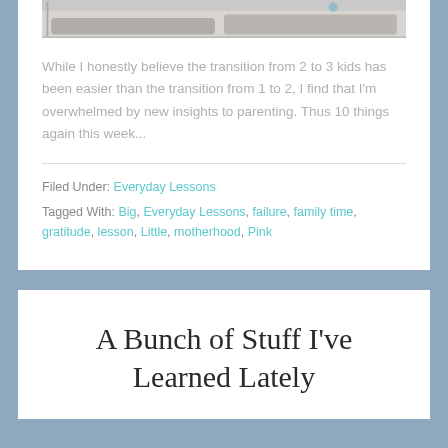[Figure (photo): Partial photo of a couch/sofa visible at top of first card]
While I honestly believe the transition from 2 to 3 kids has been easier than the transition from 1 to 2, I find that I'm overwhelmed by new insights to parenting. Thus 10 things again this week...
Filed Under: Everyday Lessons
Tagged With: Big, Everyday Lessons, failure, family time, gratitude, lesson, Little, motherhood, Pink
A Bunch of Stuff I've Learned Lately